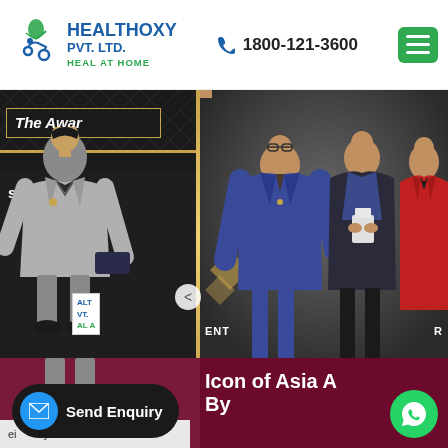HEALTHOXY PVT. LTD. HEAL AT HOME | 1800-121-3600
[Figure (photo): Two side-by-side award ceremony photos. Left: Young man in grey suit seated in front of dark backdrop with text 'The Award... st Trusted... vice Provider... Goes...' and a Healthoxy Pvt. Ltd. banner. Right: Three men on stage at an award ceremony, one in blue suit presenting an award to a man in blue vest, another in red suit stands nearby. Text 'PRESENTS' visible at top. Bottom maroon band reads 'Icon of Asia A... By...']
Icon of Asia A By
Send Enquiry